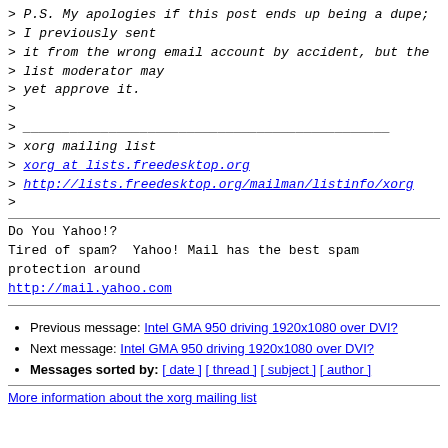> P.S. My apologies if this post ends up being a dupe;
> I previously sent
> it from the wrong email account by accident, but the
> list moderator may
> yet approve it.
>
> _______________________________________________
> xorg mailing list
> xorg at lists.freedesktop.org
> http://lists.freedesktop.org/mailman/listinfo/xorg
>
Do You Yahoo!?
Tired of spam?  Yahoo! Mail has the best spam protection around
http://mail.yahoo.com
Previous message: Intel GMA 950 driving 1920x1080 over DVI?
Next message: Intel GMA 950 driving 1920x1080 over DVI?
Messages sorted by: [ date ] [ thread ] [ subject ] [ author ]
More information about the xorg mailing list